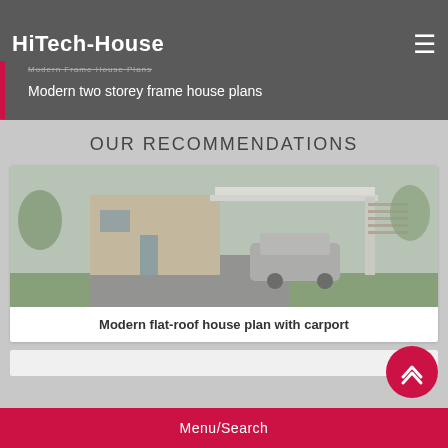HiTech-House
Modern frame house plans
Modern two storey frame house plans
OUR RECOMMENDATIONS
[Figure (photo): Rendering of a modern flat-roof house with carport and car parked inside, brick facade, green lawn, trees in background.]
Modern flat-roof house plan with carport
Menu/Search